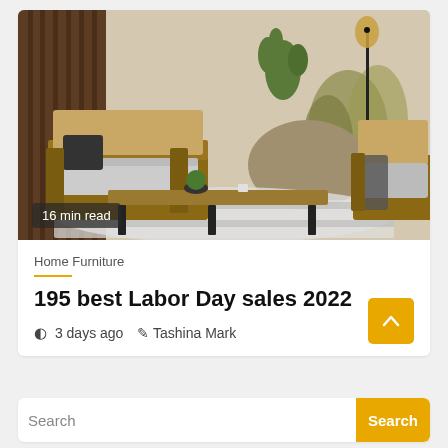[Figure (photo): Outdoor patio furniture scene with wooden sofa, rattan chairs, coffee table, a tall floor lamp with woven shade, cactus and grasses in background. Badge overlay: '16 min read']
16 min read
Home Furniture
195 best Labor Day sales 2022
3 days ago   Tashina Mark
Search